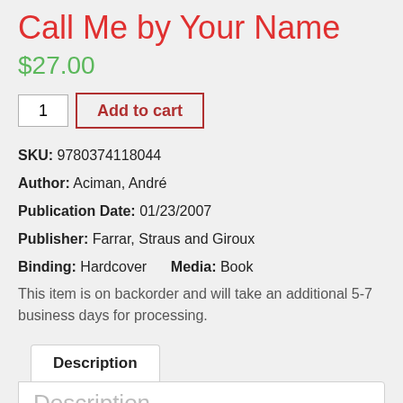Call Me by Your Name
$27.00
1  Add to cart
SKU: 9780374118044
Author: Aciman, André
Publication Date: 01/23/2007
Publisher: Farrar, Straus and Giroux
Binding: Hardcover   Media: Book
This item is on backorder and will take an additional 5-7 business days for processing.
Description
Description